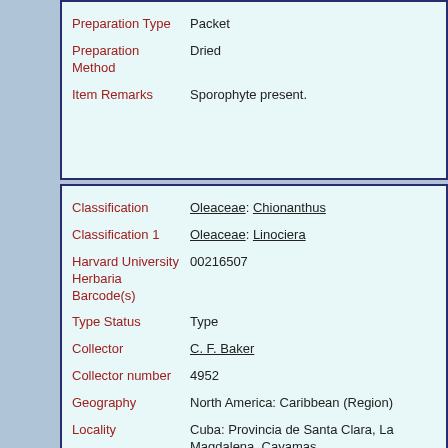| Field | Value |
| --- | --- |
| Preparation Type | Packet |
| Preparation Method | Dried |
| Item Remarks | Sporophyte present. |
| Field | Value |
| --- | --- |
| Classification | Oleaceae: Chionanthus |
| Classification 1 | Oleaceae: Linociera |
| Harvard University Herbaria Barcode(s) | 00216507 |
| Type Status | Type |
| Collector | C. F. Baker |
| Collector number | 4952 |
| Geography | North America: Caribbean (Region) |
| Locality | Cuba: Provincia de Santa Clara, La Magdalena, Cayamas |
| GUID | http://purl.oclc.org/net/edu.harvard.huh/guid/uuid/2dc... |